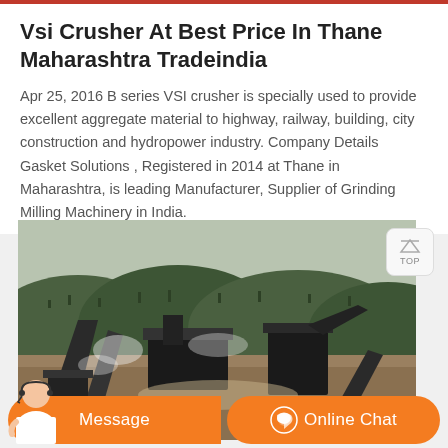Vsi Crusher At Best Price In Thane Maharashtra Tradeindia
Apr 25, 2016 B series VSI crusher is specially used to provide excellent aggregate material to highway, railway, building, city construction and hydropower industry. Company Details Gasket Solutions , Registered in 2014 at Thane in Maharashtra, is leading Manufacturer, Supplier of Grinding Milling Machinery in India.
[Figure (photo): Industrial crusher/mining machinery site with conveyor belts and heavy equipment against a hilly forested background with dust/steam visible]
Message
Online Chat